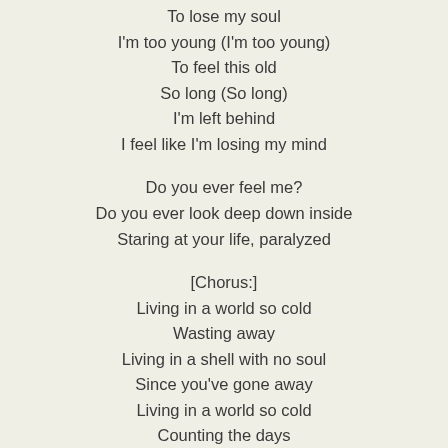To lose my soul
I'm too young (I'm too young)
To feel this old
So long (So long)
I'm left behind
I feel like I'm losing my mind
Do you ever feel me?
Do you ever look deep down inside
Staring at your life, paralyzed
[Chorus:]
Living in a world so cold
Wasting away
Living in a shell with no soul
Since you've gone away
Living in a world so cold
Counting the days
Since you've gone away
You've gone away from me
[Outro:]